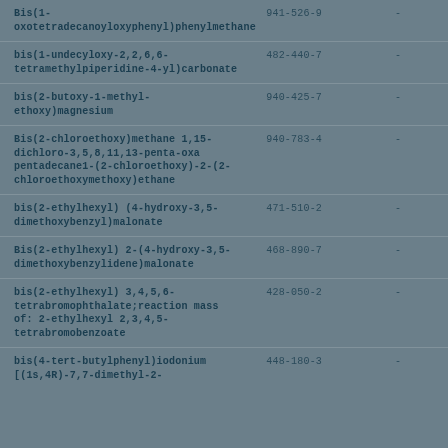| Bis(1-oxotetradecanoyloxyphenyl)phenylmethane | 941-526-9 | - |
| bis(1-undecyloxy-2,2,6,6-tetramethylpiperidine-4-yl)carbonate | 482-440-7 | - |
| bis(2-butoxy-1-methyl-ethoxy)magnesium | 940-425-7 | - |
| Bis(2-chloroethoxy)methane 1,15-dichloro-3,5,8,11,13-penta-oxa pentadecane1-(2-chloroethoxy)-2-(2-chloroethoxymethoxy)ethane | 940-783-4 | - |
| bis(2-ethylhexyl) (4-hydroxy-3,5-dimethoxybenzyl)malonate | 471-510-2 | - |
| Bis(2-ethylhexyl) 2-(4-hydroxy-3,5-dimethoxybenzylidene)malonate | 468-890-7 | - |
| bis(2-ethylhexyl) 3,4,5,6-tetrabromophthalate;reaction mass of: 2-ethylhexyl 2,3,4,5-tetrabromobenzoate | 428-050-2 | - |
| bis(4-tert-butylphenyl)iodonium [(1s,4R)-7,7-dimethyl-2- | 448-180-3 | - |